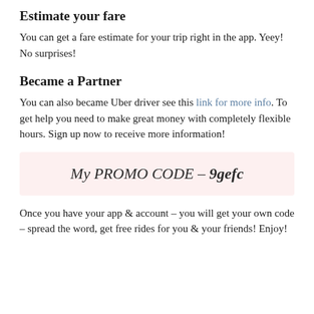Estimate your fare
You can get a fare estimate for your trip right in the app. Yeey! No surprises!
Became a Partner
You can also became Uber driver see this link for more info. To get help you need to make great money with completely flexible hours. Sign up now to receive more information!
My PROMO CODE – 9gefc
Once you have your app & account – you will get your own code – spread the word, get free rides for you & your friends! Enjoy!